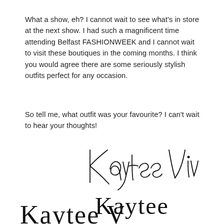What a show, eh? I cannot wait to see what's in store at the next show. I had such a magnificent time attending Belfast FASHIONWEEK and I cannot wait to visit these boutiques in the coming months. I think you would agree there are some seriously stylish outfits perfect for any occasion.
So tell me, what outfit was your favourite? I can't wait to hear your thoughts!
[Figure (illustration): Handwritten cursive signature reading 'Kaytee Vivienne' in elegant script]
[Figure (illustration): Partial handwritten cursive signature (bottom of page, partially cropped) appearing to begin 'Kay V...' in the same cursive style]